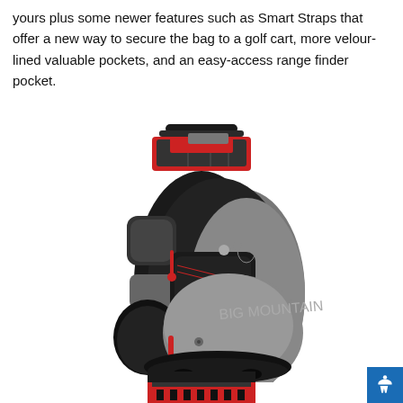yours plus some newer features such as Smart Straps that offer a new way to secure the bag to a golf cart, more velour-lined valuable pockets, and an easy-access range finder pocket.
[Figure (photo): A black, grey, and red Sun Mountain golf cart bag shown at an angle. The bag features multiple pockets including a velour-lined pocket, Smart Straps for cart attachment, a range finder pocket, and a top divider system. The bag has a structured base and red accent zippers.]
[Figure (photo): Partial view of a red and black golf bag component visible at the bottom of the page, cropped.]